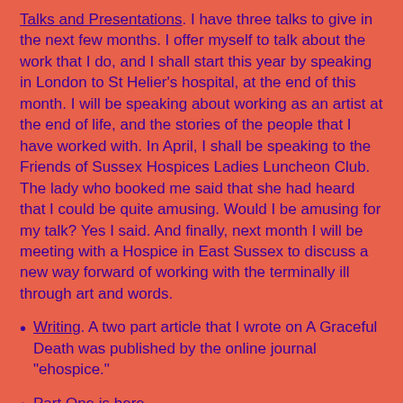Talks and Presentations. I have three talks to give in the next few months.  I offer myself to talk about the work that I do, and I shall start this year by speaking in London to St Helier's hospital, at the end of this month.  I will be speaking about working as an artist at the end of life, and the stories of the people that I have worked with.  In April, I shall be speaking to the Friends of Sussex Hospices Ladies Luncheon Club.  The lady who booked me said that she had heard that I could be quite amusing.  Would I be amusing for my talk?  Yes I said.   And finally, next month I will be meeting with a Hospice in East Sussex to discuss a new way forward of working with the terminally ill through art and words.
Writing. A two part article that I wrote on A Graceful Death was published by the online journal "ehospice."
Part One is here - http://www.ehospice.com/uk/ArticlesList/AGracefulD...